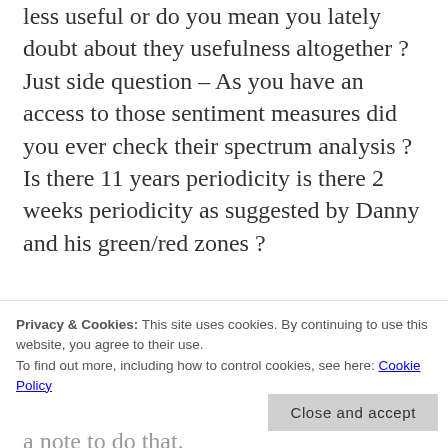less useful or do you mean you lately doubt about they usefulness altogether ? Just side question – As you have an access to those sentiment measures did you ever check their spectrum analysis ? Is there 11 years periodicity is there 2 weeks periodicity as suggested by Danny and his green/red zones ?
take care,
P.
REPLY
Privacy & Cookies: This site uses cookies. By continuing to use this website, you agree to their use.
To find out more, including how to control cookies, see here: Cookie Policy
Close and accept
a note to do that.